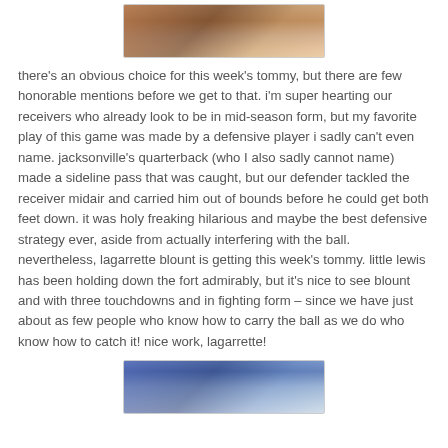[Figure (photo): Partial photo of a football player wearing jersey number 12, cropped at top of page]
there's an obvious choice for this week's tommy, but there are few honorable mentions before we get to that. i'm super hearting our receivers who already look to be in mid-season form, but my favorite play of this game was made by a defensive player i sadly can't even name. jacksonville's quarterback (who I also sadly cannot name) made a sideline pass that was caught, but our defender tackled the receiver midair and carried him out of bounds before he could get both feet down. it was holy freaking hilarious and maybe the best defensive strategy ever, aside from actually interfering with the ball. nevertheless, lagarrette blount is getting this week's tommy. little lewis has been holding down the fort admirably, but it's nice to see blount and with three touchdowns and in fighting form – since we have just about as few people who know how to carry the ball as we do who know how to catch it! nice work, lagarrette!
[Figure (photo): Partial photo of football players, cropped at bottom of page]